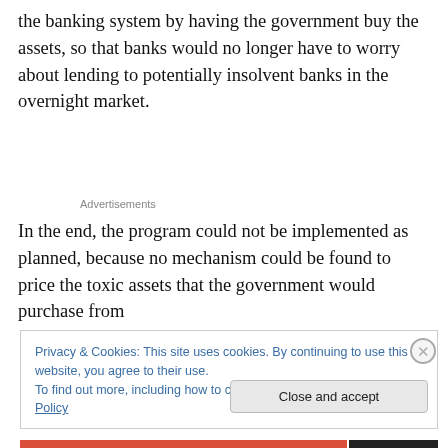the banking system by having the government buy the assets, so that banks would no longer have to worry about lending to potentially insolvent banks in the overnight market.
Advertisements
In the end, the program could not be implemented as planned, because no mechanism could be found to price the toxic assets that the government would purchase from
Privacy & Cookies: This site uses cookies. By continuing to use this website, you agree to their use.
To find out more, including how to control cookies, see here: Cookie Policy